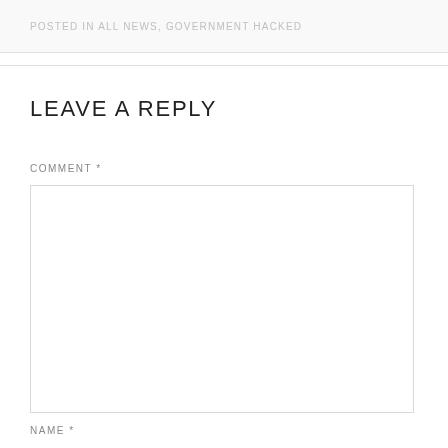POSTED IN ALL NEWS, GOVERNMENT HACKED
LEAVE A REPLY
COMMENT *
NAME *